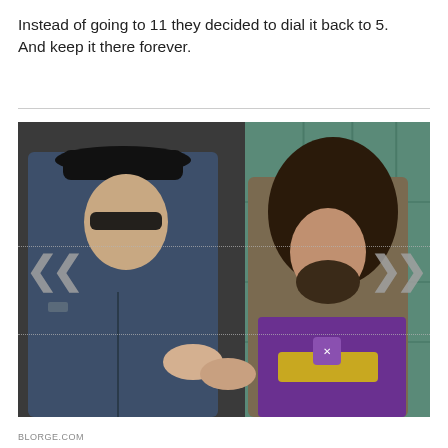Instead of going to 11 they decided to dial it back to 5. And keep it there forever.
[Figure (photo): A film still showing a uniformed officer with dark sunglasses and cap interacting with a long-haired civilian wearing a purple scarf, against a teal/green tarp background. Navigation arrows (< and >) are visible on either side of the image. Dotted horizontal lines cross the image.]
BLORGE.COM